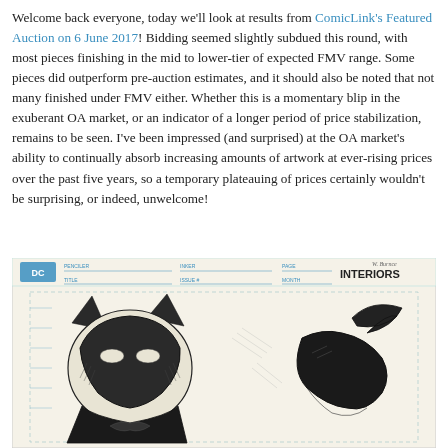Welcome back everyone, today we'll look at results from ComicLink's Featured Auction on 6 June 2017! Bidding seemed slightly subdued this round, with most pieces finishing in the mid to lower-tier of expected FMV range. Some pieces did outperform pre-auction estimates, and it should also be noted that not many finished under FMV either. Whether this is a momentary blip in the exuberant OA market, or an indicator of a longer period of price stabilization, remains to be seen. I've been impressed (and surprised) at the OA market's ability to continually absorb increasing amounts of artwork at ever-rising prices over the past five years, so a temporary plateauing of prices certainly wouldn't be surprising, or indeed, unwelcome!
[Figure (illustration): Comic book original art page showing Batman character artwork on a DC Comics interior art board with printed header fields (Penciler, Inker, Title, Issue #, Page, Month, Interiors). The illustration shows Batman's cowled head and upper body in a detailed ink style.]